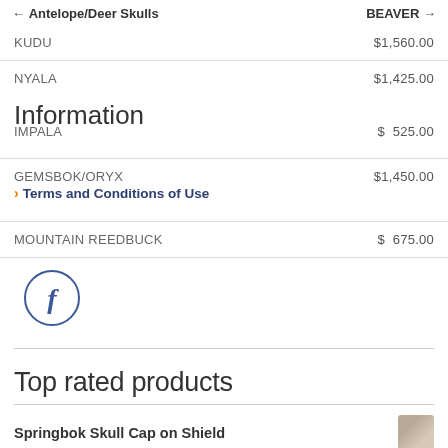← Antelope/Deer Skulls    BEAVER →
KUDU    $1,560.00
NYALA    $1,425.00
IMPALA    $ 525.00
Information
GEMSBOK/ORYX    $1,450.00
> Terms and Conditions of Use
MOUNTAIN REEDBUCK    $ 675.00
[Figure (logo): Facebook circular icon with letter f]
Top rated products
Springbok Skull Cap on Shield